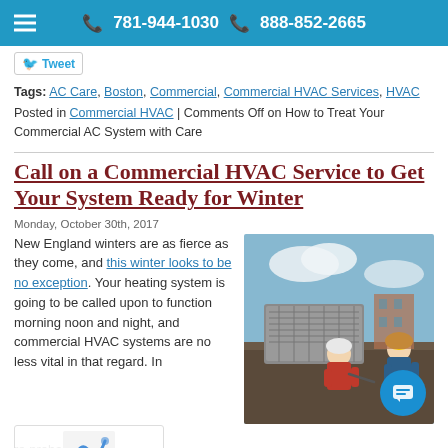781-944-1030   888-852-2665
Tweet   Tags: AC Care, Boston, Commercial, Commercial HVAC Services, HVAC
Posted in Commercial HVAC | Comments Off on How to Treat Your Commercial AC System with Care
Call on a Commercial HVAC Service to Get Your System Ready for Winter
Monday, October 30th, 2017
New England winters are as fierce as they come, and this winter looks to be no exception. Your heating system is going to be called upon to function morning noon and night, and commercial HVAC systems are no less vital in that regard. In fact, they're probably even more important, not only because most of us spend at least part of our day in an office,
[Figure (photo): Two HVAC technicians in hard hats working on a rooftop commercial air conditioning unit]